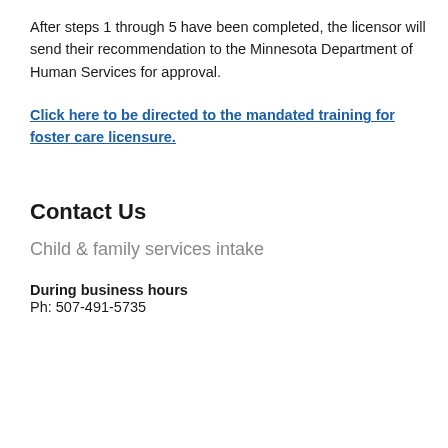After steps 1 through 5 have been completed, the licensor will send their recommendation to the Minnesota Department of Human Services for approval.
Click here to be directed to the mandated training for foster care licensure.
Contact Us
Child & family services intake
During business hours
Ph: 507-491-5735